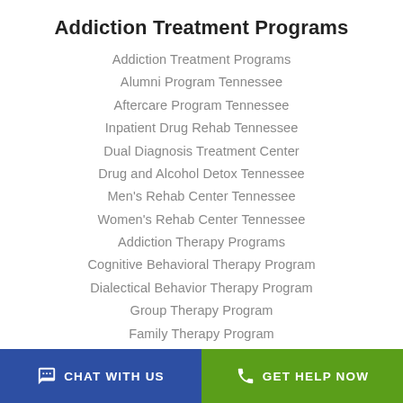Addiction Treatment Programs
Addiction Treatment Programs
Alumni Program Tennessee
Aftercare Program Tennessee
Inpatient Drug Rehab Tennessee
Dual Diagnosis Treatment Center
Drug and Alcohol Detox Tennessee
Men's Rehab Center Tennessee
Women's Rehab Center Tennessee
Addiction Therapy Programs
Cognitive Behavioral Therapy Program
Dialectical Behavior Therapy Program
Group Therapy Program
Family Therapy Program
Mental Health Treatment Programs
Mental Health Treatment Programs
CHAT WITH US   GET HELP NOW